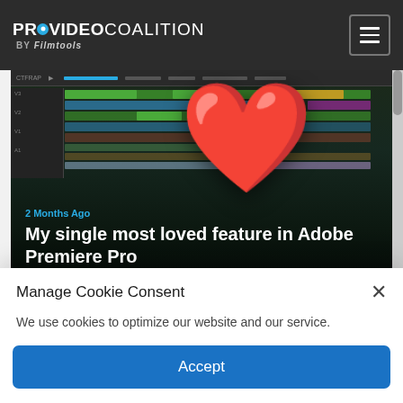PROVIDEO COALITION BY Filmtools
[Figure (screenshot): Hero article card showing Adobe Premiere Pro timeline with a red heart emoji overlay, labeled '2 Months Ago' with title 'My single most loved feature in Adobe Premiere Pro']
2 Months Ago
My single most loved feature in Adobe Premiere Pro
[Figure (photo): Small thumbnail image of a Panasonic Lumix camera]
POST PRODUCTION
Review: Panasonic Lumix GH6
Manage Cookie Consent
We use cookies to optimize our website and our service.
Accept